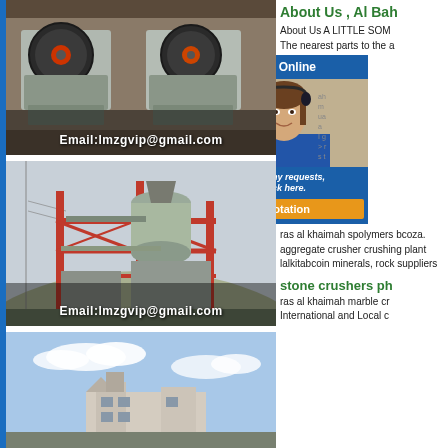[Figure (photo): Industrial jaw crusher machines on a factory floor, multiple units side by side, with 'Email:lmzgvip@gmail.com' overlay text]
[Figure (photo): Large industrial VSI crusher / sand-making plant structure with red framework on a hillside, with 'Email:lmzgvip@gmail.com' overlay text]
[Figure (photo): Partial view of a building or industrial facility with blue sky and clouds]
About Us , Al Bah
About Us A LITTLE SOM
The nearest parts to the a
[Figure (infographic): 24/7 Online popup widget with a customer service lady wearing headset, 'Have any requests, click here.' text and 'Quotation' orange button]
ras al khaimah spolymers bcoza. aggregate crusher crushing plant lalkitabcoin minerals, rock suppliers
stone crushers ph
ras al khaimah marble cr International and Local c